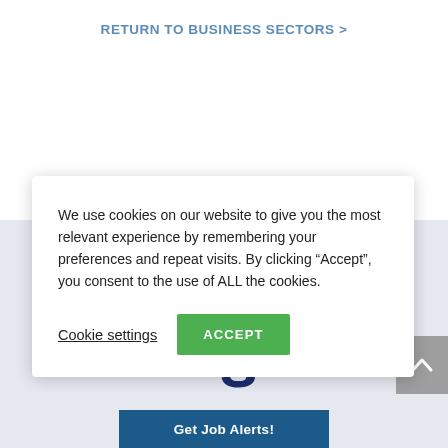RETURN TO BUSINESS SECTORS >
Receive
Alerts in
We use cookies on our website to give you the most relevant experience by remembering your preferences and repeat visits. By clicking “Accept”, you consent to the use of ALL the cookies.
Cookie settings
ACCEPT
Get Job Alerts!